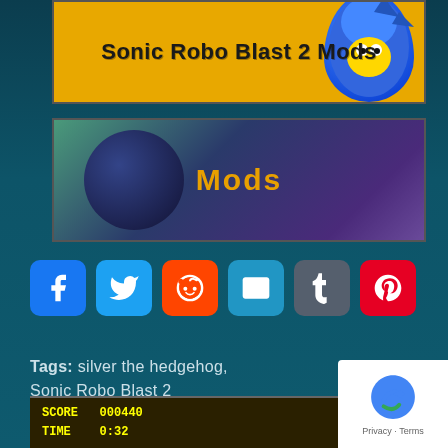[Figure (screenshot): Sonic Robo Blast 2 Mods banner with yellow/orange background and blue Sonic character]
[Figure (screenshot): Mods banner with dark blue/purple background showing Sonic movie character silhouette with orange Mods text]
[Figure (infographic): Social sharing buttons row: Facebook, Twitter, Reddit, Email, Tumblr, Pinterest]
Tags: silver the hedgehog, Sonic Robo Blast 2
RELATED POSTS
[Figure (screenshot): Partially visible game screenshot showing SCORE and TIME display]